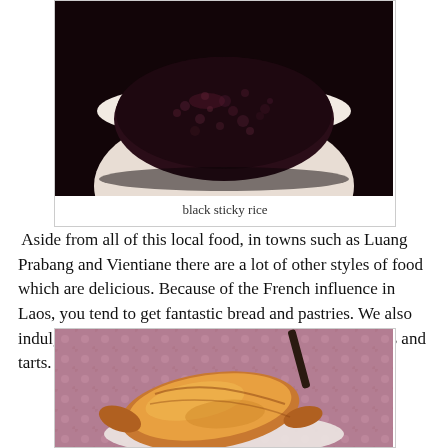[Figure (photo): A white bowl filled with dark purple-black sticky rice, photographed from above on a dark background.]
black sticky rice
Aside from all of this local food, in towns such as Luang Prabang and Vientiane there are a lot of other styles of food which are delicious. Because of the French influence in Laos, you tend to get fantastic bread and pastries. We also indulged in some fantastic croque monsieurs, croissants and tarts. Mmm….
[Figure (photo): A golden croissant on a white plate, on a floral tablecloth, with a dark utensil visible in the background.]